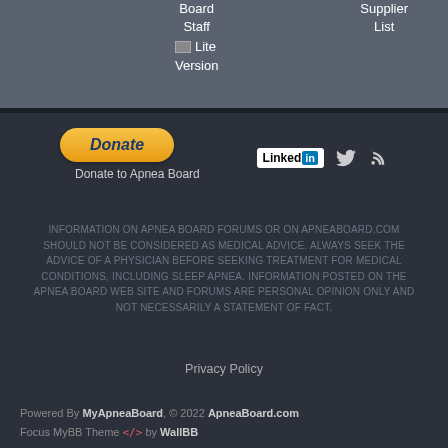Apnea Board Staff | Out | Supplier List | Lite Version
[Figure (logo): PayPal Donate button with orange rounded rectangle and italic bold text 'Donate']
Donate to Apnea Board
[Figure (logo): LinkedIn, Twitter, and RSS social media icons]
INFORMATION ON APNEA BOARD FORUMS OR ON APNEABOARD.COM SHOULD NOT BE CONSIDERED AS MEDICAL ADVICE. ALWAYS SEEK THE ADVICE OF A PHYSICIAN BEFORE SEEKING TREATMENT FOR MEDICAL CONDITIONS, INCLUDING SLEEP APNEA. INFORMATION POSTED ON THE APNEA BOARD WEB SITE AND FORUMS ARE PERSONAL OPINION ONLY AND NOT NECESSARILY A STATEMENT OF FACT.
Privacy Policy
Powered By MyApneaBoard, © 2022 ApneaBoard.com Focus MyBB Theme </> by WallBB